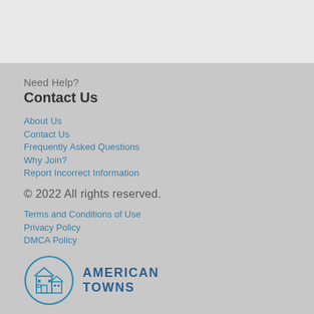Need Help?
Contact Us
About Us
Contact Us
Frequently Asked Questions
Why Join?
Report Incorrect Information
© 2022 All rights reserved.
Terms and Conditions of Use
Privacy Policy
DMCA Policy
[Figure (logo): American Towns logo with circular building/town illustration and bold text AMERICAN TOWNS]